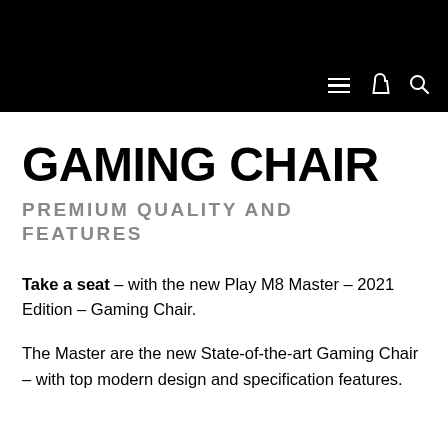GAMING CHAIR
PREMIUM QUALITY AND FEATURES
Take a seat – with the new Play M8 Master – 2021 Edition – Gaming Chair.
The Master are the new State-of-the-art Gaming Chair – with top modern design and specification features.